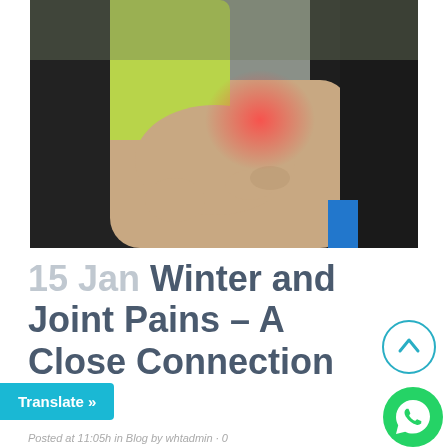[Figure (photo): Person wearing yellow-green long sleeve shirt sitting on ground holding knee/shin area with redness indicating pain, black pants, outdoor setting on pavement]
15 Jan Winter and Joint Pains – A Close Connection
Posted at 11:05h in Blog by whtadmin · 0